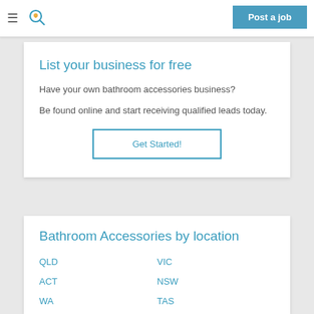≡ [search icon] | Post a job
List your business for free
Have your own bathroom accessories business?
Be found online and start receiving qualified leads today.
Get Started!
Bathroom Accessories by location
QLD
VIC
ACT
NSW
WA
TAS